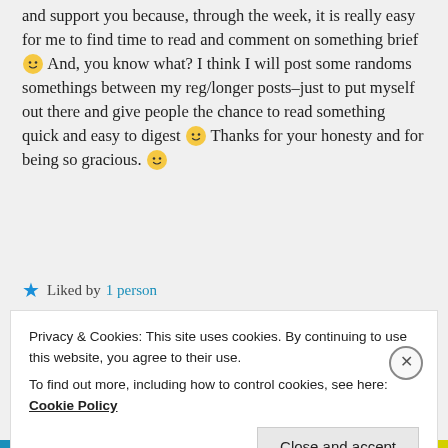and support you because, through the week, it is really easy for me to find time to read and comment on something brief 🙂 And, you know what? I think I will post some randoms somethings between my reg/longer posts–just to put myself out there and give people the chance to read something quick and easy to digest 🙂 Thanks for your honesty and for being so gracious. 🙂
★ Liked by 1 person
Privacy & Cookies: This site uses cookies. By continuing to use this website, you agree to their use.
To find out more, including how to control cookies, see here: Cookie Policy
Close and accept